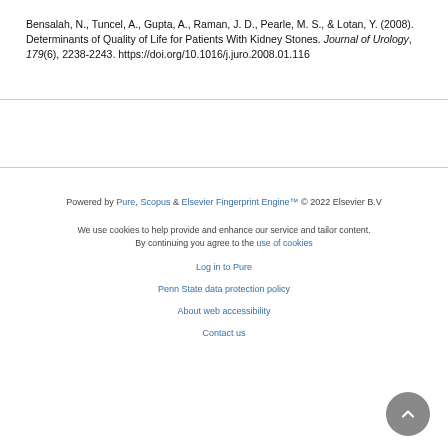Bensalah, N., Tuncel, A., Gupta, A., Raman, J. D., Pearle, M. S., & Lotan, Y. (2008). Determinants of Quality of Life for Patients With Kidney Stones. Journal of Urology, 179(6), 2238-2243. https://doi.org/10.1016/j.juro.2008.01.116
Powered by Pure, Scopus & Elsevier Fingerprint Engine™ © 2022 Elsevier B.V

We use cookies to help provide and enhance our service and tailor content. By continuing you agree to the use of cookies

Log in to Pure

Penn State data protection policy

About web accessibility

Contact us